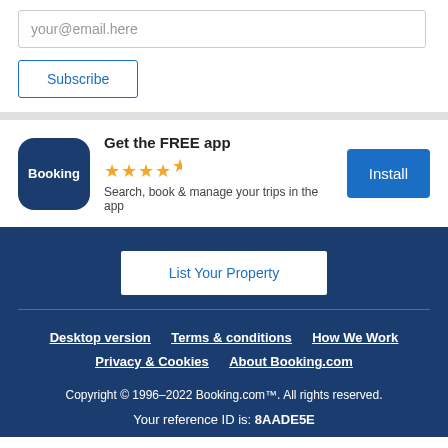your@email.here
Subscribe
Get the FREE app
★★★★½
Search, book & manage your trips in the app
Install
List Your Property
Desktop version   Terms & conditions   How We Work
Privacy & Cookies   About Booking.com
Copyright © 1996–2022 Booking.com™. All rights reserved.
Your reference ID is: 8AADE5E